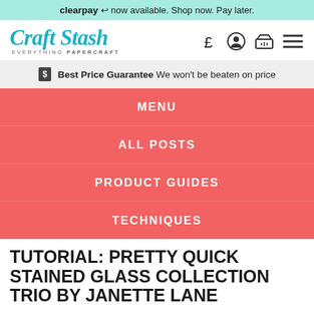clearpay now available. Shop now. Pay later.
[Figure (logo): Craft Stash logo — EVERYTHING PAPERCRAFT, teal cursive font]
Best Price Guarantee We won't be beaten on price
MENU
ALL POSTS
PRODUCT GUIDES
TECHNIQUES
TUTORIAL: PRETTY QUICK STAINED GLASS COLLECTION TRIO BY JANETTE LANE